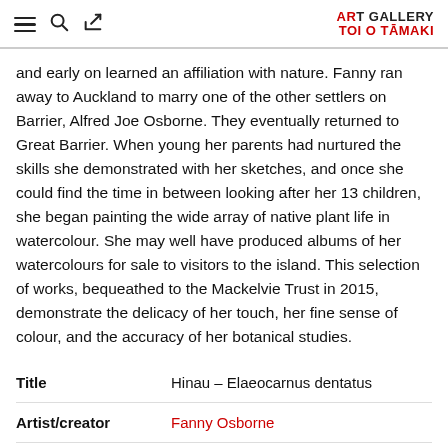Auckland Art Gallery Toi o Tāmaki
and early on learned an affiliation with nature. Fanny ran away to Auckland to marry one of the other settlers on Barrier, Alfred Joe Osborne. They eventually returned to Great Barrier. When young her parents had nurtured the skills she demonstrated with her sketches, and once she could find the time in between looking after her 13 children, she began painting the wide array of native plant life in watercolour. She may well have produced albums of her watercolours for sale to visitors to the island. This selection of works, bequeathed to the Mackelvie Trust in 2015, demonstrate the delicacy of her touch, her fine sense of colour, and the accuracy of her botanical studies.
| Label | Value |
| --- | --- |
| Title | Hinau – Elaeocarnus dentatus |
| Artist/creator | Fanny Osborne |
| Production date | late 19th century–early 20th century |
| Credit line | Mackelvie Trust Collection, Auckland Art Gallery Toi o Tāmaki, bequest of Mrs S.M |